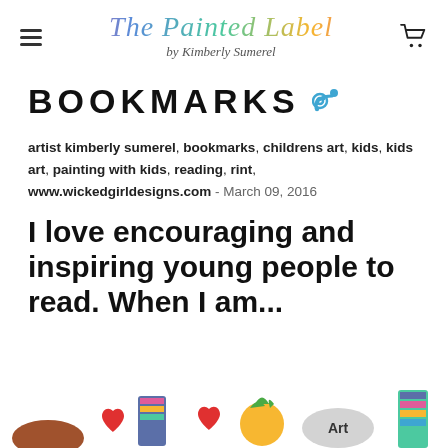The Painted Label by Kimberly Sumerel
BOOKMARKS
artist kimberly sumerel, bookmarks, childrens art, kids, kids art, painting with kids, reading, rint, www.wickedgirldesigns.com - March 09, 2016
I love encouraging and inspiring young people to read. When I am...
[Figure (photo): Bottom strip showing colorful painted bookmarks including hearts, pineapple, and Art-themed designs]